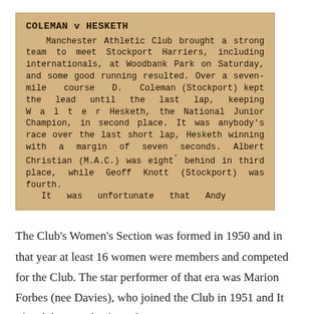[Figure (other): Newspaper clipping with title 'COLEMAN v HESKETH' describing a cross-country race between Manchester Athletic Club and Stockport Harriers at Woodbank Park, with Hesketh winning by seven seconds over D. Coleman.]
The Club's Women's Section was formed in 1950 and in that year at least 16 women were members and competed for the Club. The star performer of that era was Marion Forbes (nee Davies), who joined the Club in 1951 and It The club is D who from the o...